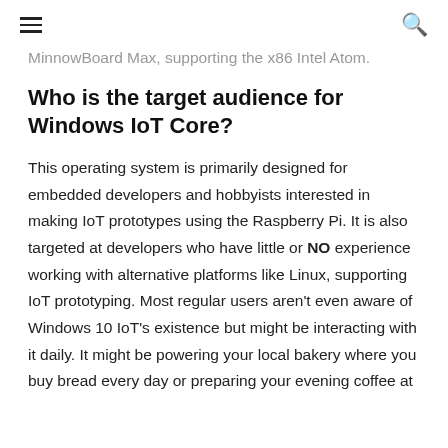≡  🔍
MinnowBoard Max, supporting the x86 Intel Atom.
Who is the target audience for Windows IoT Core?
This operating system is primarily designed for embedded developers and hobbyists interested in making IoT prototypes using the Raspberry Pi. It is also targeted at developers who have little or NO experience working with alternative platforms like Linux, supporting IoT prototyping. Most regular users aren't even aware of Windows 10 IoT's existence but might be interacting with it daily. It might be powering your local bakery where you buy bread every day or preparing your evening coffee at